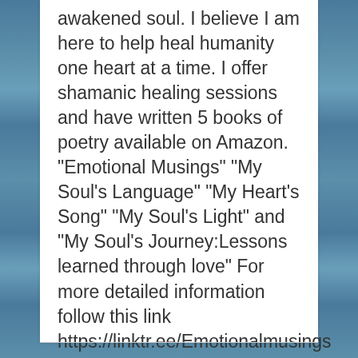awakened soul. I believe I am here to help heal humanity one heart at a time.  I offer shamanic healing sessions and have written 5 books of poetry available on Amazon. "Emotional Musings" "My Soul's Language" "My Heart's Song"  "My Soul's Light" and "My Soul's Journey:Lessons learned through love" For more detailed information follow this link https://linktr.ee/Emotionalmusings In light and in shadow, always with love. Namaste. View all posts by MariaTeresa